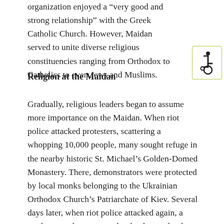organization enjoyed a “very good and strong relationship” with the Greek Catholic Church. However, Maidan served to unite diverse religious constituencies ranging from Orthodox to Catholics to even Jews and Muslims.
[Figure (illustration): Wheelchair accessibility icon inside a yellow-green bordered box]
Religion at the Maidan
Gradually, religious leaders began to assume more importance on the Maidan. When riot police attacked protesters, scattering a whopping 10,000 people, many sought refuge in the nearby historic St. Michael’s Golden-Domed Monastery. There, demonstrators were protected by local monks belonging to the Ukrainian Orthodox Church’s Patriarchate of Kiev. Several days later, when riot police attacked again, a graduate student at a nearby theology school began to ring sacred bells next to a local cathedral. The noise and commotion could be heard for miles. In response to the call, priests